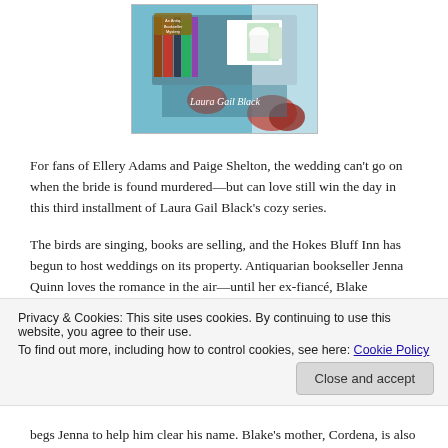[Figure (photo): Book cover of an Antiquarian Mystery by Laura Gail Black, showing a shop scene with wedding photos and flowers]
For fans of Ellery Adams and Paige Shelton, the wedding can't go on when the bride is found murdered—but can love still win the day in this third installment of Laura Gail Black's cozy series.
The birds are singing, books are selling, and the Hokes Bluff Inn has begun to host weddings on its property. Antiquarian bookseller Jenna Quinn loves the romance in the air—until her ex-fiancé, Blake Emerson,
Privacy & Cookies: This site uses cookies. By continuing to use this website, you agree to their use.
To find out more, including how to control cookies, see here: Cookie Policy
begs Jenna to help him clear his name. Blake's mother, Cordena, is also